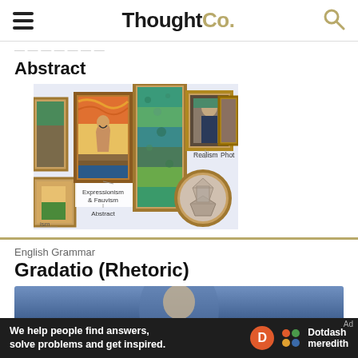ThoughtCo.
Abstract
[Figure (illustration): Infographic showing styles of art including framed paintings: Expressionism & Fauvism (The Scream), Abstract (colorful textured painting), Realism (Mona Lisa), Photorealism, and a cubist circular artwork. Labels point to each art style.]
English Grammar
Gradatio (Rhetoric)
[Figure (photo): Partial photo visible at bottom, appears to show a face or portrait, partially obscured by an ad banner.]
We help people find answers, solve problems and get inspired.
Ad